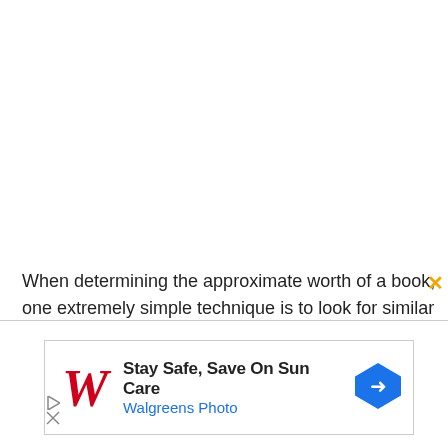When determining the approximate worth of a book, one extremely simple technique is to look for similar
[Figure (other): Walgreens advertisement banner: Stay Safe, Save On Sun Care - Walgreens Photo, with Walgreens cursive W logo in red and a blue diamond-shaped navigation arrow icon]